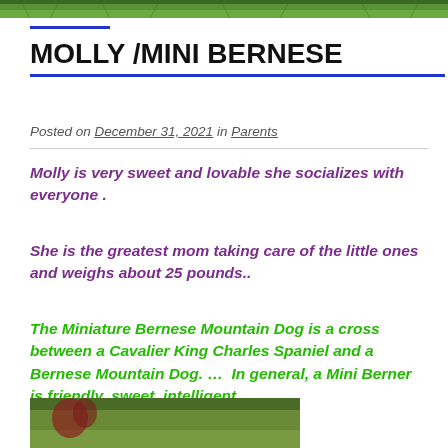[Figure (photo): Green foliage/grass banner image at top of page]
MOLLY /MINI BERNESE
Posted on December 31, 2021 in Parents
Molly is very sweet and lovable she socializes with everyone .
She is the greatest mom taking care of the little ones and weighs about 25 pounds..
The Miniature Bernese Mountain Dog is a cross between a Cavalier King Charles Spaniel and a Bernese Mountain Dog. …  In general, a Mini Berner is friendly, sweet, intelligent
[Figure (photo): Partially visible dog photo at bottom of page]